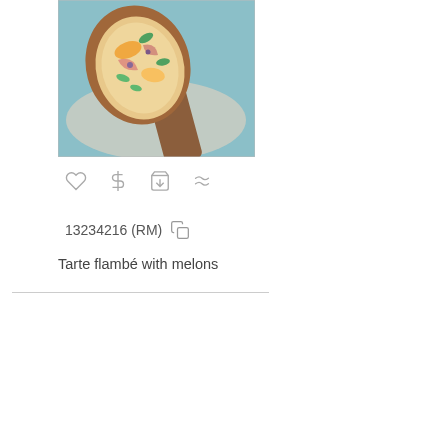[Figure (photo): Photo of a tarte flambé with melons served on a wooden pizza peel board, on a blue surface with a linen cloth. The flatbread is topped with melon slices, prosciutto-style ham, and fresh basil/mint leaves.]
♡  $  🛒  ≈
13234216 (RM)  ☐
Tarte flambé with melons